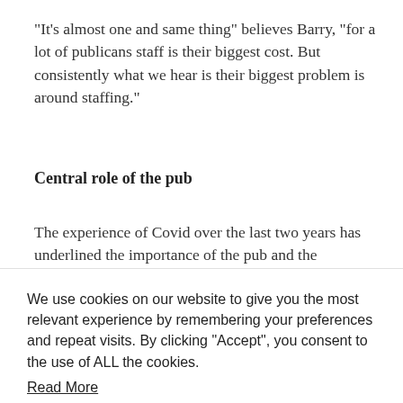“It's almost one and same thing” believes Barry, “for a lot of publicans staff is their biggest cost. But consistently what we hear is their biggest problem is around staffing.”
Central role of the pub
The experience of Covid over the last two years has underlined the importance of the pub and the
We use cookies on our website to give you the most relevant experience by remembering your preferences and repeat visits. By clicking “Accept”, you consent to the use of ALL the cookies.
Read More
Cookie settings
ACCEPT